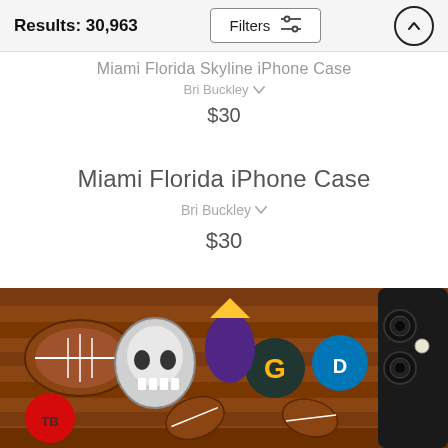Results: 30,963
Miami Florida Skyline iPhone Case
Bri Buckley
$30
Miami Florida iPhone Case
Bri Buckley
$30
[Figure (photo): Bottom portion of an iPhone case featuring NFL sports teams collage artwork with footballs, helmets, and team logos on a wooden background. The phone case shows a dark camera module on the right side.]